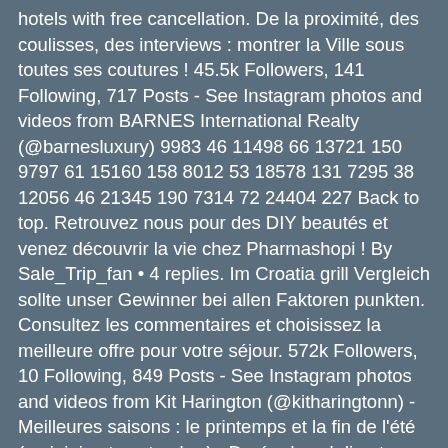hotels with free cancellation. De la proximité, des coulisses, des interviews : montrer la Ville sous toutes ses coutures ! 45.5k Followers, 141 Following, 717 Posts - See Instagram photos and videos from BARNES International Realty (@barnesluxury) 9983 46 11498 66 13721 150 9797 61 15160 158 8012 53 18578 131 7295 38 12056 46 21345 190 7314 72 24404 227 Back to top. Retrouvez nous pour des DIY beautés et venez découvrir la vie chez Pharmashopi ! By Sale_Trip_fan • 4 replies. Im Croatia grill Vergleich sollte unser Gewinner bei allen Faktoren punkten. Consultez les commentaires et choisissez la meilleure offre pour votre séjour. 572k Followers, 10 Following, 849 Posts - See Instagram photos and videos from Kit Harington (@kitharingtonn) - Meilleures saisons : le printemps et la fin de l'été (mai, juin et septembre).- Durée de vol direct depuis Paris : 1h50 pour Zagreb.- Décalage horaire : aucun. In all larger cities you will find a main bus stations from where the intercity buses departure, in some cities like e.g. 4 replies. Svojom tradicijom, te uslugom N.R. 11 replies. Croatia has had a turbulent history but is establishing itself as an exciting destination great for all the family. Watch